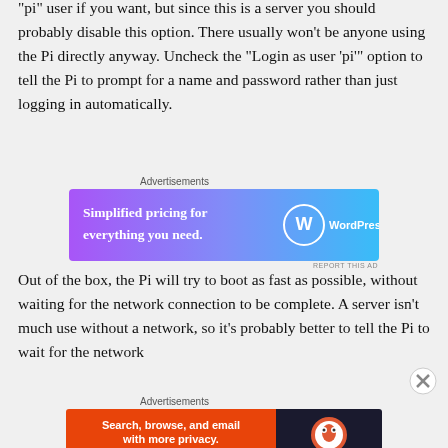“pi” user if you want, but since this is a server you should probably disable this option. There usually won’t be anyone using the Pi directly anyway. Uncheck the “Login as user ‘pi’” option to tell the Pi to prompt for a name and password rather than just logging in automatically.
[Figure (other): WordPress.com advertisement banner: 'Simplified pricing for everything you need.']
Out of the box, the Pi will try to boot as fast as possible, without waiting for the network connection to be complete. A server isn’t much use without a network, so it’s probably better to tell the Pi to wait for the network
[Figure (other): DuckDuckGo advertisement banner: 'Search, browse, and email with more privacy. All in One Free App']